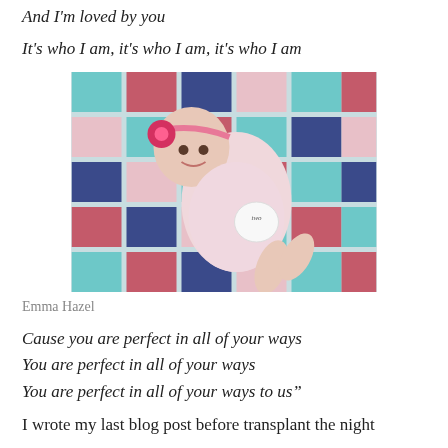And I'm loved by you
It's who I am, it's who I am, it's who I am
[Figure (photo): A baby girl lying on a colorful patchwork quilt, wearing a pink outfit and a pink flower headband, holding a small circular sign.]
Emma Hazel
Cause you are perfect in all of your ways
You are perfect in all of your ways
You are perfect in all of your ways to us"
I wrote my last blog post before transplant the night